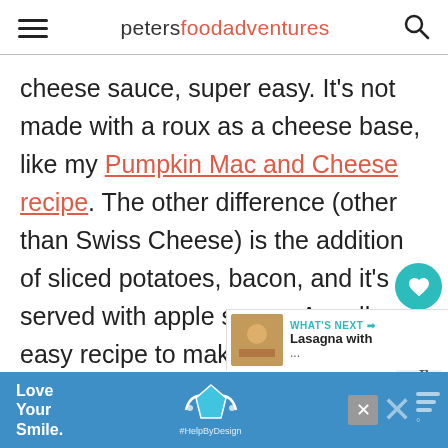petersfoodadventures
cheese sauce, super easy. It's not made with a roux as a cheese base, like my Pumpkin Mac and Cheese recipe. The other difference (other than Swiss Cheese) is the addition of sliced potatoes, bacon, and it's served with apple sauce. A really an easy recipe to make, an awesome carb overload.
[Figure (other): Social sharing sidebar with heart/save button showing count 462 and share button]
[Figure (other): What's Next promo bar showing Lasagna with thumbnail image]
[Figure (other): Advertisement banner for Love Your Smile dental with HelpByDesign hashtag]